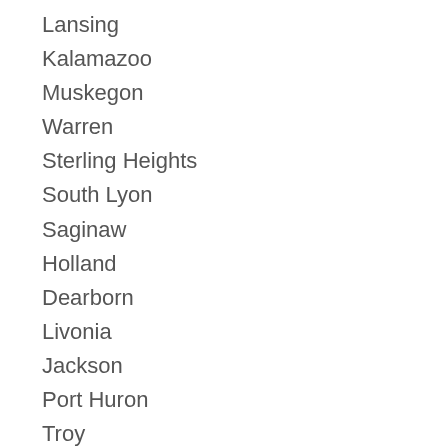Lansing
Kalamazoo
Muskegon
Warren
Sterling Heights
South Lyon
Saginaw
Holland
Dearborn
Livonia
Jackson
Port Huron
Troy
Westland
Farmington Hills
Battle Creek